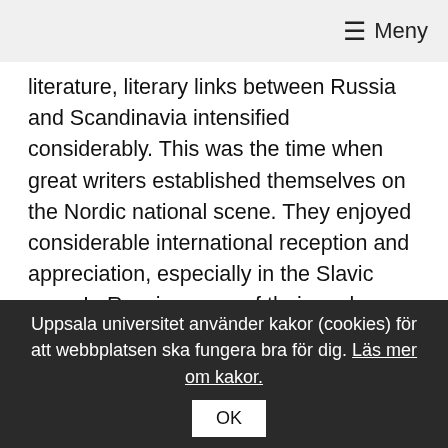☰ Meny
literature, literary links between Russia and Scandinavia intensified considerably. This was the time when great writers established themselves on the Nordic national scene. They enjoyed considerable international reception and appreciation, especially in the Slavic area. In Russia, many of their works began to be translated and published, their dramas were widely performed on the stages of the capital and in provincial theatres. In 1910, Maksim Gor'kij stated that 'Вообще скандинавы интереснее и серьезнее всех в наши дни", i.e. that "in general, Scandinavians today are the most interesting and profound of all". The admiration was mutual: many of the Scandinavian writers took inspiration from their Russian colleagues and also took a
Uppsala universitet använder kakor (cookies) för att webbplatsen ska fungera bra för dig. Läs mer om kakor.
OK